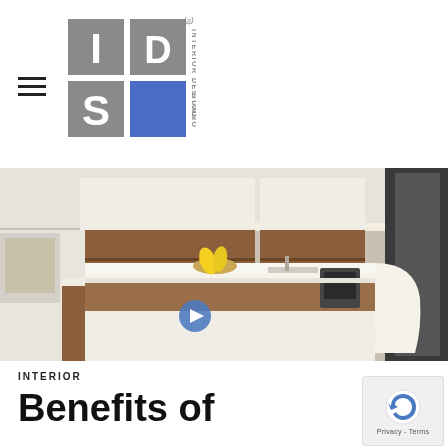[Figure (logo): IDS Interior Designs Studio logo - grey and blue square logo with letters I, D, S and text INTERIOR DESIGNS STUDIO]
[Figure (photo): Modern kitchen interior with white countertops, wood cabinetry, a large kitchen island with white chairs, under-cabinet lighting, and a bowl of bananas on the island]
INTERIOR
Benefits of